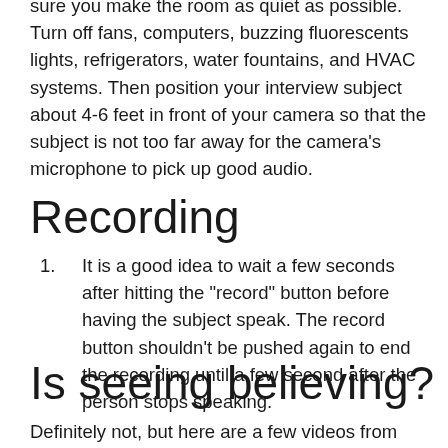sure you make the room as quiet as possible. Turn off fans, computers, buzzing fluorescents lights, refrigerators, water fountains, and HVAC systems. Then position your interview subject about 4-6 feet in front of your camera so that the subject is not too far away for the camera's microphone to pick up good audio.
Recording
It is a good idea to wait a few seconds after hitting the "record" button before having the subject speak. The record button shouldn't be pushed again to end the recording until a few second after the person stops speaking.
Is seeing believing?
Definitely not, but here are a few videos from YouTube, created by LinkedIn Learning Solutions, that will help you in the process to learn to use di-